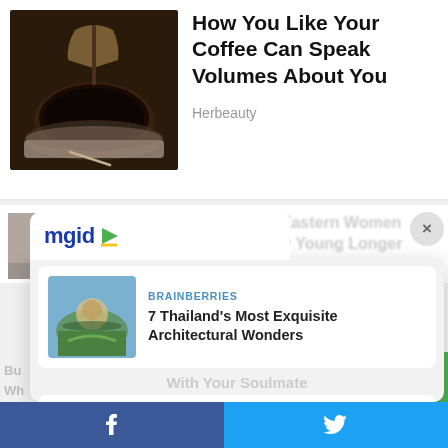[Figure (photo): Photo of black coffee being poured into a white cup on a saucer with a spoon]
How You Like Your Coffee Can Speak Volumes About You
Herbeauty
[Figure (photo): Background article image partially visible]
10 Secrets That Eastern Women Swear By To Stay Young Longer
[Figure (logo): mgid logo with play button icon]
×
[Figure (photo): Aerial photo of Thailand architectural landmark surrounded by water]
BRAINBERRIES
7 Thailand's Most Exquisite Architectural Wonders
With Your Soulmate
[Figure (photo): Person lying on grass wearing patterned skirt]
HERBEAUTY
How To Wear A Skirt In A Casual Chic Way
Bu wh
[Figure (infographic): Facebook share button (blue)]
[Figure (infographic): Twitter share button (light blue)]